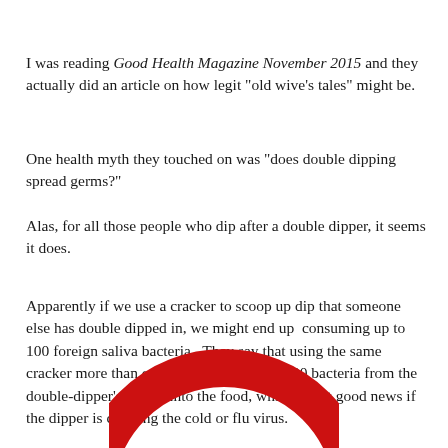I was reading Good Health Magazine November 2015 and they actually did an article on how legit "old wive's tales" might be.
One health myth they touched on was "does double dipping spread germs?"
Alas, for all those people who dip after a double dipper, it seems it does.
Apparently if we use a cracker to scoop up dip that someone else has double dipped in, we might end up  consuming up to 100 foreign saliva bacteria.  They say that using the same cracker more than once deposits up to 10,000 bacteria from the double-dipper's mouth into the food, which is not good news if the dipper is carrying the cold or flu virus.
[Figure (other): Partial view of a red circular arc/ring shape (like a prohibition or warning symbol) visible at the bottom of the page.]